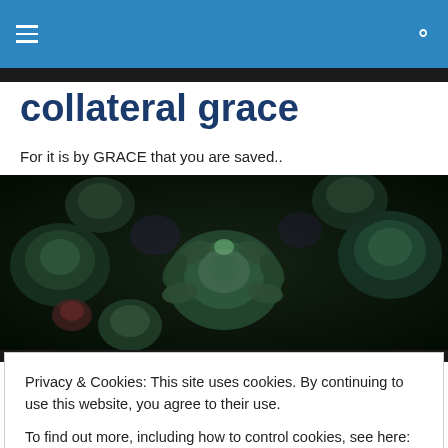collateral grace navigation bar
collateral grace
For it is by GRACE that you are saved..
[Figure (photo): Close-up photo of succulent plants with dark green and blue-green leaves on a dark background]
SPAM: It's NOT What's for
Privacy & Cookies: This site uses cookies. By continuing to use this website, you agree to their use.
To find out more, including how to control cookies, see here: Cookie Policy
correct verbiage is, "The LOVE of money is the root of all